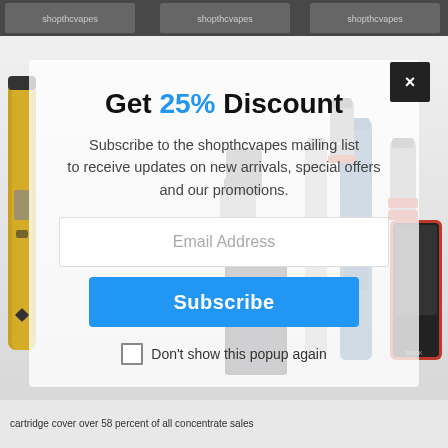[Figure (screenshot): Website popup modal for shopthcvapes.com showing a 25% discount offer with vape device product images in the background]
Get 25% Discount
Subscribe to the shopthcvapes mailing list to receive updates on new arrivals, special offers and our promotions.
Email Address
Subscribe
Don't show this popup again
cartridge cover over 58 percent of all concentrate sales